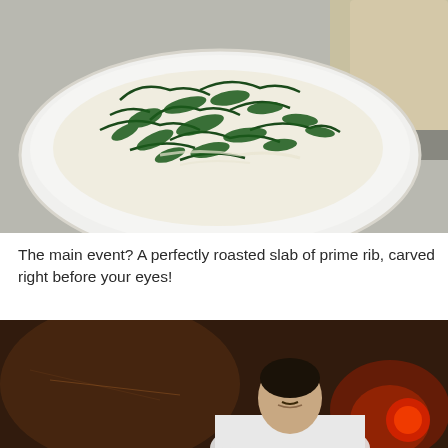[Figure (photo): A white oval bowl containing creamed spinach with dark green wilted spinach leaves in a creamy white sauce, photographed on a light gray surface with what appears to be bread or another dish partially visible in the upper right corner.]
The main event? A perfectly roasted slab of prime rib, carved right before your eyes!
[Figure (photo): A man in a white shirt leaning over, photographed in a dark warm-toned restaurant setting with red and amber lighting in the background.]